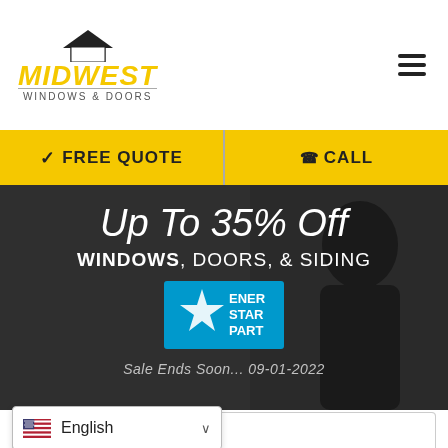[Figure (logo): Midwest Windows & Doors logo with house icon in black, MIDWEST in bold yellow italic text, WINDOWS & DOORS subtitle]
✓ FREE QUOTE
☎ CALL
Up To 35% Off
WINDOWS, DOORS, & SIDING
[Figure (logo): Energy Star Partner badge in blue and white]
Sale Ends Soon... 09-01-2022
Full Name
English